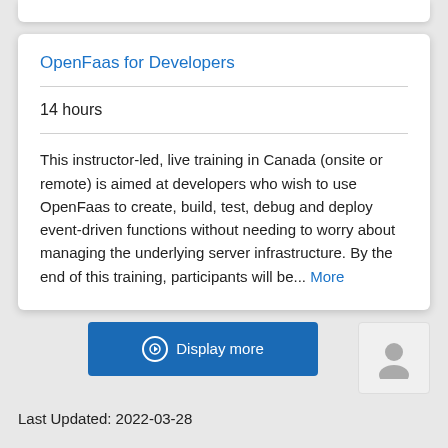OpenFaas for Developers
14 hours
This instructor-led, live training in Canada (onsite or remote) is aimed at developers who wish to use OpenFaas to create, build, test, debug and deploy event-driven functions without needing to worry about managing the underlying server infrastructure. By the end of this training, participants will be... More
Last Updated: 2022-03-28